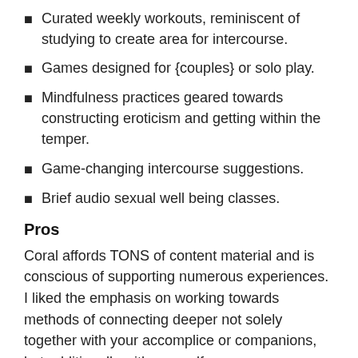Curated weekly workouts, reminiscent of studying to create area for intercourse.
Games designed for {couples} or solo play.
Mindfulness practices geared towards constructing eroticism and getting within the temper.
Game-changing intercourse suggestions.
Brief audio sexual well being classes.
Pros
Coral affords TONS of content material and is conscious of supporting numerous experiences. I liked the emphasis on working towards methods of connecting deeper not solely together with your accomplice or companions, but additionally with yourself.